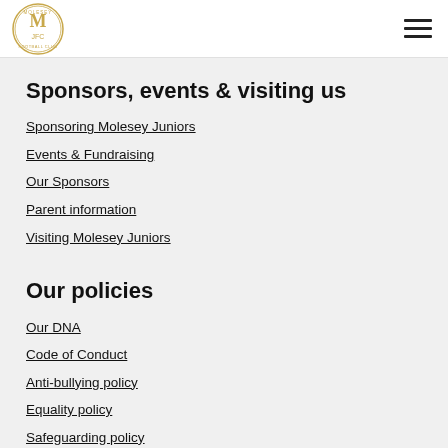Molesey Juniors FC logo and navigation menu
Sponsors, events & visiting us
Sponsoring Molesey Juniors
Events & Fundraising
Our Sponsors
Parent information
Visiting Molesey Juniors
Our policies
Our DNA
Code of Conduct
Anti-bullying policy
Equality policy
Safeguarding policy
CV-19 latest news